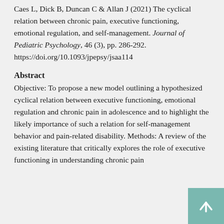Caes L, Dick B, Duncan C & Allan J (2021) The cyclical relation between chronic pain, executive functioning, emotional regulation, and self-management. Journal of Pediatric Psychology, 46 (3), pp. 286-292. https://doi.org/10.1093/jpepsy/jsaa114
Abstract
Objective: To propose a new model outlining a hypothesized cyclical relation between executive functioning, emotional regulation and chronic pain in adolescence and to highlight the likely importance of such a relation for self-management behavior and pain-related disability. Methods: A review of the existing literature that critically explores the role of executive functioning in understanding chronic pain